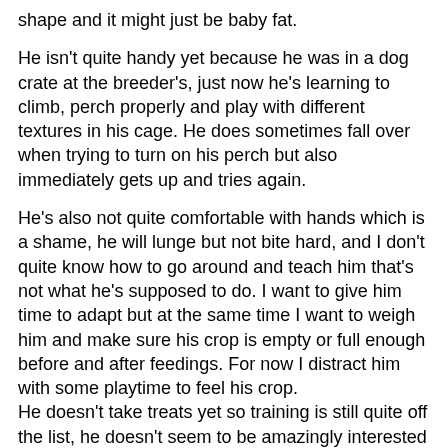shape and it might just be baby fat.
He isn't quite handy yet because he was in a dog crate at the breeder's, just now he's learning to climb, perch properly and play with different textures in his cage. He does sometimes fall over when trying to turn on his perch but also immediately gets up and tries again.
He's also not quite comfortable with hands which is a shame, he will lunge but not bite hard, and I don't quite know how to go around and teach him that's not what he's supposed to do. I want to give him time to adapt but at the same time I want to weigh him and make sure his crop is empty or full enough before and after feedings. For now I distract him with some playtime to feel his crop. He doesn't take treats yet so training is still quite off the list, he doesn't seem to be amazingly interested in anything award like. For now most of our interactions are feeding, playing around with paper or wood, giving stuff to nibble on, or just sitting by the cage talking to him.
Anyone have any advice on how to make interactions more fun for him? How we should go around rewarding good behavior when he is not yet interested in treats or anything hands on?